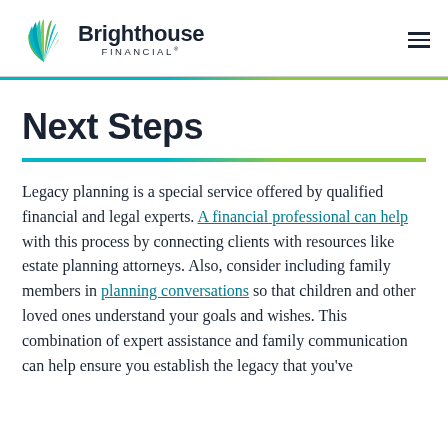Brighthouse Financial
Next Steps
Legacy planning is a special service offered by qualified financial and legal experts. A financial professional can help with this process by connecting clients with resources like estate planning attorneys. Also, consider including family members in planning conversations so that children and other loved ones understand your goals and wishes. This combination of expert assistance and family communication can help ensure you establish the legacy that you've